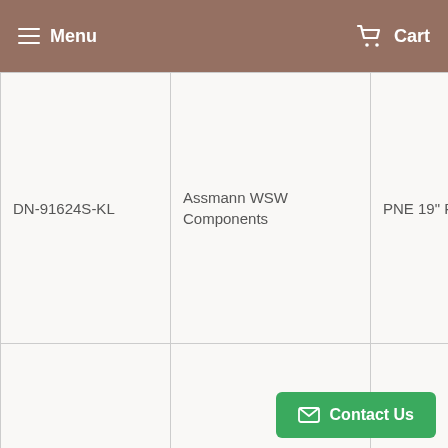Menu  Cart
| DN-91624S-KL | Assmann WSW Components | PNE 19" RJ45 CAT6 |  |
| RMMLTD | HellermannTyton | MULTI-LINE TERM DISTR MOD |  |
| MIPP-01-000 | Belden Inc. | MOD IND PATCH PANEL |  |
|  |  | GST |  |